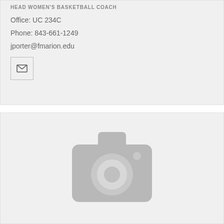HEAD WOMEN'S BASKETBALL COACH
Office: UC 234C
Phone: 843-661-1249
jporter@fmarion.edu
[Figure (illustration): Email icon button — envelope icon inside a square border]
[Figure (photo): Placeholder image with a grey camera icon, indicating no photo is available]